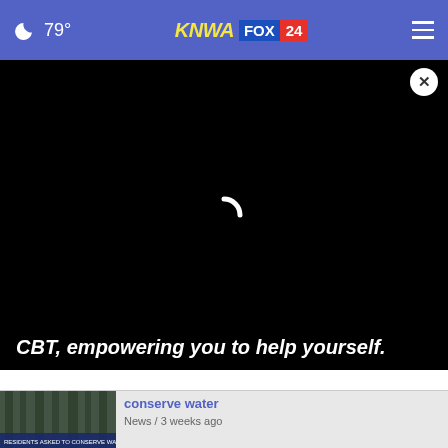79° KNWA FOX 24
[Figure (screenshot): Black video player area with a loading spinner arc visible in the center]
CBT, empowering you to help yourself.
conserve water
News / 3 weeks ago